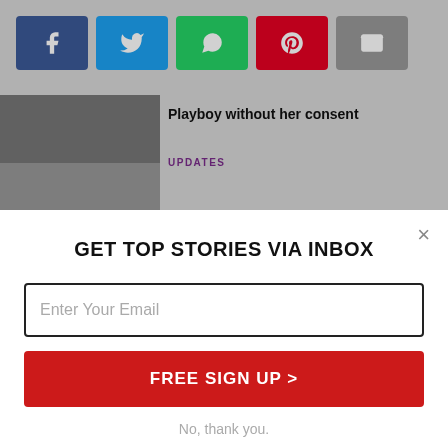[Figure (screenshot): Social media share buttons: Facebook (blue), Twitter (light blue), WhatsApp (green), Pinterest (red), Email (gray)]
Playboy without her consent
UPDATES
GET TOP STORIES VIA INBOX
Enter Your Email
FREE SIGN UP >
No, thank you.
UPDATES
10 Classic Hollywood Stars Who Had Plastic Surgery
Editor's picks: